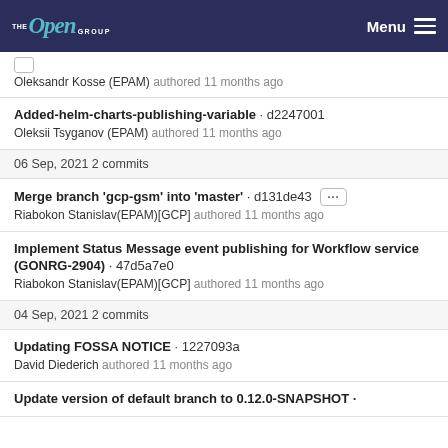THE Open GROUP | Menu
Oleksandr Kosse (EPAM) authored 11 months ago
Added-helm-charts-publishing-variable · d2247001
Oleksii Tsyganov (EPAM) authored 11 months ago
06 Sep, 2021 2 commits
Merge branch 'gcp-gsm' into 'master' · d131de43
Riabokon Stanislav(EPAM)[GCP] authored 11 months ago
Implement Status Message event publishing for Workflow service (GONRG-2904) · 47d5a7e0
Riabokon Stanislav(EPAM)[GCP] authored 11 months ago
04 Sep, 2021 2 commits
Updating FOSSA NOTICE · 1227093a
David Diederich authored 11 months ago
Update version of default branch to 0.12.0-SNAPSHOT ·